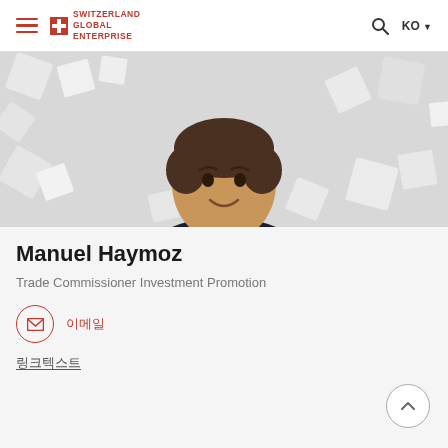SWITZERLAND GLOBAL ENTERPRISE | KO
[Figure (photo): Professional portrait photo of Manuel Haymoz, a young man in a dark suit and white shirt, smiling, against a background of white abstract cube shapes.]
Manuel Haymoz
Trade Commissioner Investment Promotion
이메일 보내기 (Korean UI placeholder text)
링크 텍스트 (Korean UI placeholder text)